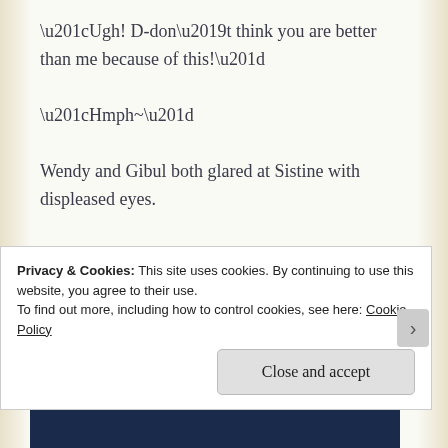“Ugh! D-don’t think you are better than me because of this!”
“Hmph~”
Wendy and Gibul both glared at Sistine with displeased eyes.
Not long ago, the difference in ability between Sistine, Wendy, and Gibul were negligible. But before anyone noticed, Sistine had pulled away
Privacy & Cookies: This site uses cookies. By continuing to use this website, you agree to their use.
To find out more, including how to control cookies, see here: Cookie Policy
Close and accept